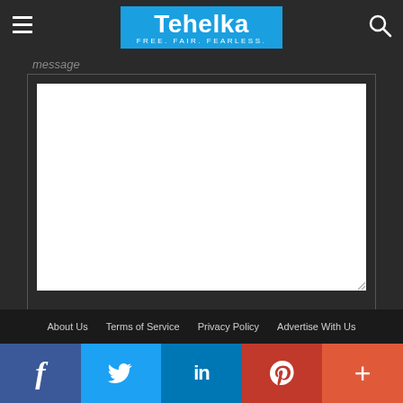Tehelka - FREE. FAIR. FEARLESS.
message
[Figure (screenshot): Empty textarea form field with white background and resize handle]
Submit
About Us   Terms of Service   Privacy Policy   Advertise With Us
[Figure (infographic): Social media share bar with Facebook, Twitter, LinkedIn, Pinterest, and More icons]